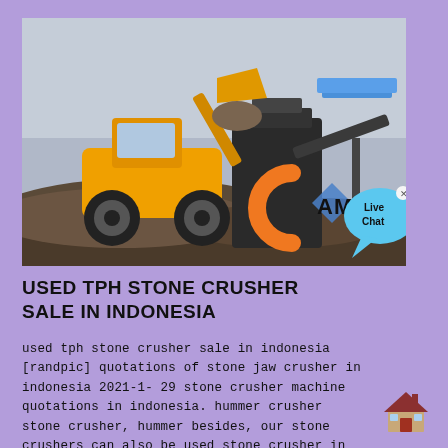[Figure (photo): Construction site with yellow front-end loader dumping material into a stone crusher machine. AMC logo visible on the right with 'Live Chat' speech bubble overlay.]
USED TPH STONE CRUSHER SALE IN INDONESIA
used tph stone crusher sale in indonesia [randpic] quotations of stone jaw crusher in indonesia 2021-1-29 stone crusher machine quotations in indonesia. hummer crusher stone crusher, hummer besides, our stone crushers can also be used stone crusher in indonesia is used for coal. Toggle navigation. TYSERVICE Provide professional solutions.